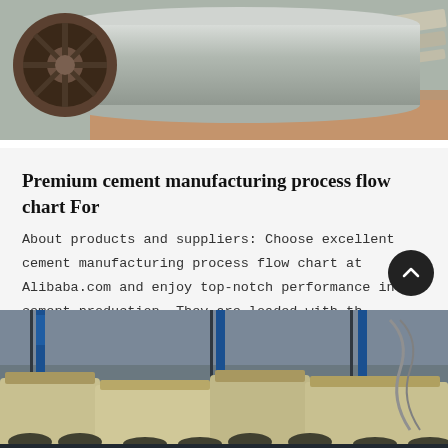[Figure (photo): Industrial steel cylinder/roller with a large wheel hub on the left end, resting on metal rails or tracks, close-up view]
Premium cement manufacturing process flow chart For
About products and suppliers: Choose excellent cement manufacturing process flow chart at Alibaba.com and enjoy top-notch performance in cement production. They are loaded with th…
[Figure (photo): Industrial factory interior showing large cement manufacturing machinery with yellow/cream-colored equipment, steel columns with blue banners, and heavy industrial rollers or mills on the factory floor]